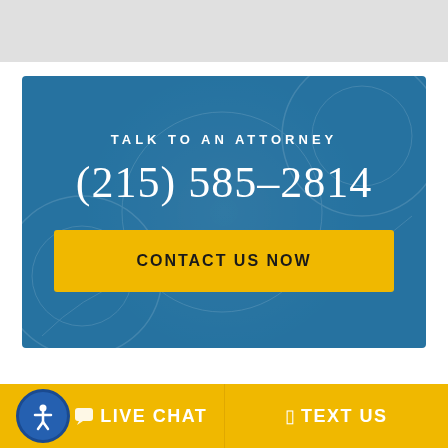[Figure (other): Gray banner/header bar at top of page]
TALK TO AN ATTORNEY
(215) 585-2814
CONTACT US NOW
LIVE CHAT
TEXT US